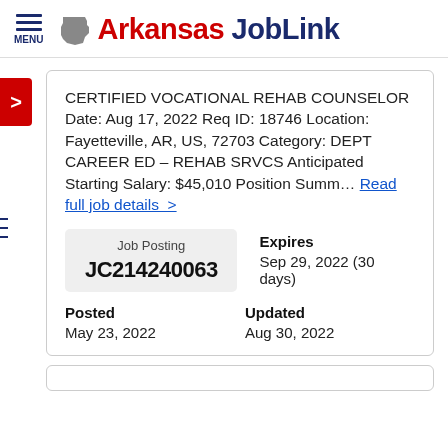Arkansas JobLink
CERTIFIED VOCATIONAL REHAB COUNSELOR Date: Aug 17, 2022 Req ID: 18746 Location: Fayetteville, AR, US, 72703 Category: DEPT CAREER ED – REHAB SRVCS Anticipated Starting Salary: $45,010 Position Summ… Read full job details >
| Job Posting | Expires |
| --- | --- |
| JC214240063 | Sep 29, 2022 (30 days) |
| Posted | Updated |
| --- | --- |
| May 23, 2022 | Aug 30, 2022 |